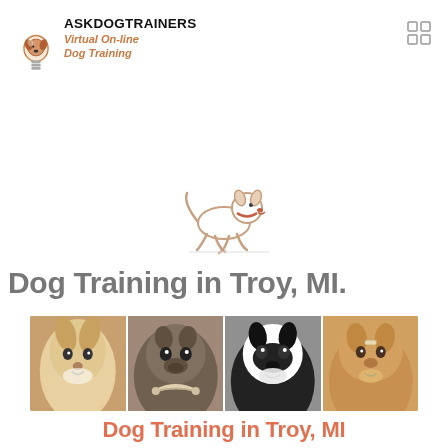[Figure (logo): AskDogTrainers logo with lightbulb/dog head icon and text 'ASKDOGTRAINERS Virtual On-line Dog Training']
[Figure (illustration): Running dog cartoon illustration (white fluffy dog with collar, outlined in light brown)]
Dog Training in Troy, MI.
[Figure (photo): Photo strip of four dogs: a collie/border collie, a pug, a black-and-white border collie, and a golden retriever]
Dog Training in Troy, MI